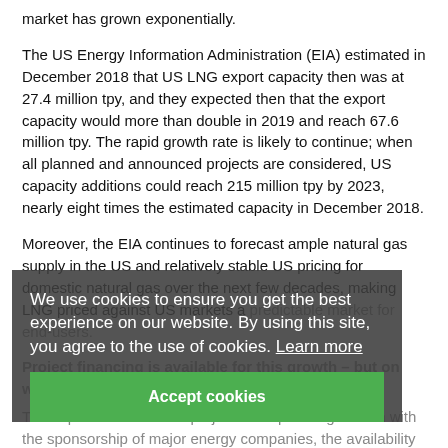market has grown exponentially.
The US Energy Information Administration (EIA) estimated in December 2018 that US LNG export capacity then was at 27.4 million tpy, and they expected then that the export capacity would more than double in 2019 and reach 67.6 million tpy. The rapid growth rate is likely to continue; when all planned and announced projects are considered, US capacity additions could reach 215 million tpy by 2023, nearly eight times the estimated capacity in December 2018.
Moreover, the EIA continues to forecast ample natural gas supply in the US and relatively stable US pricing for domestic natural gas over the next few decades, making LNG priced against US markets a predictable market for end-users.
Project financing is available for this growth – but on what terms?
The capital costs of LNG projects are quite large. Even with the sponsorship of major energy companies, the availability of project financing was key to funding construction and startup of the first wave of LNG projects. Because of the willingness and experience of project finance lenders in assessing and managing construction risks, this remains the most appropriate form of